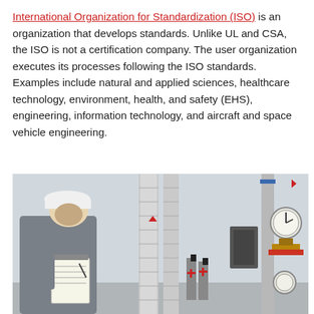International Organization for Standardization (ISO) is an organization that develops standards. Unlike UL and CSA, the ISO is not a certification company. The user organization executes its processes following the ISO standards. Examples include natural and applied sciences, healthcare technology, environment, health, and safety (EHS), engineering, information technology, and aircraft and space vehicle engineering.
[Figure (photo): A worker in a white hard hat and grey jacket writing on a clipboard while inspecting industrial piping systems with gauges, valves, and insulated pipes in a facility.]